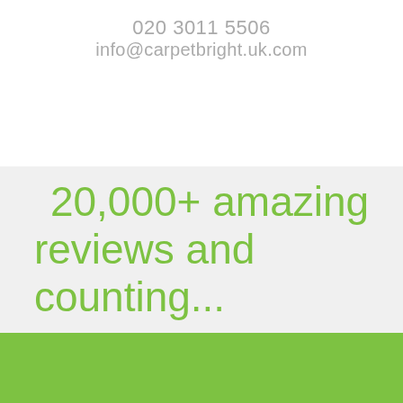020 3011 5506
info@carpetbright.uk.com
20,000+ amazing reviews and counting...